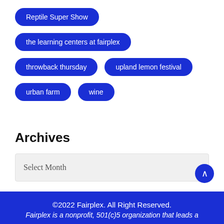Reptile Super Show
the learning centers at fairplex
throwback thursday
upland lemon festival
urban farm
wine
Archives
Select Month
©2022 Fairplex. All Right Reserved. Fairplex is a nonprofit, 501(c)5 organization that leads a